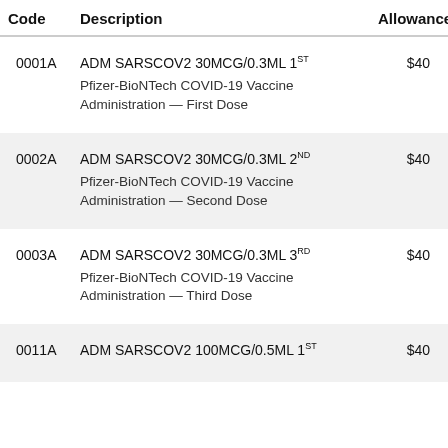| Code | Description | Allowance |
| --- | --- | --- |
| 0001A | ADM SARSCOV2 30MCG/0.3ML 1ST
Pfizer-BioNTech COVID-19 Vaccine Administration — First Dose | $40 |
| 0002A | ADM SARSCOV2 30MCG/0.3ML 2ND
Pfizer-BioNTech COVID-19 Vaccine Administration — Second Dose | $40 |
| 0003A | ADM SARSCOV2 30MCG/0.3ML 3RD
Pfizer-BioNTech COVID-19 Vaccine Administration — Third Dose | $40 |
| 0011A | ADM SARSCOV2 100MCG/0.5ML 1ST | $40 |